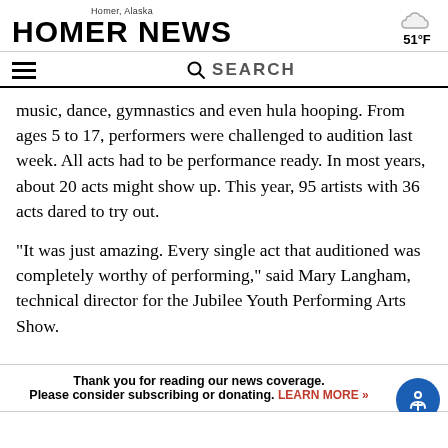Homer, Alaska — HOMER NEWS — 51°F
music, dance, gymnastics and even hula hooping. From ages 5 to 17, performers were challenged to audition last week. All acts had to be performance ready. In most years, about 20 acts might show up. This year, 95 artists with 36 acts dared to try out.
“It was just amazing. Every single act that auditioned was completely worthy of performing,” said Mary Langham, technical director for the Jubilee Youth Performing Arts Show.
Thank you for reading our news coverage. Please consider subscribing or donating. LEARN MORE »